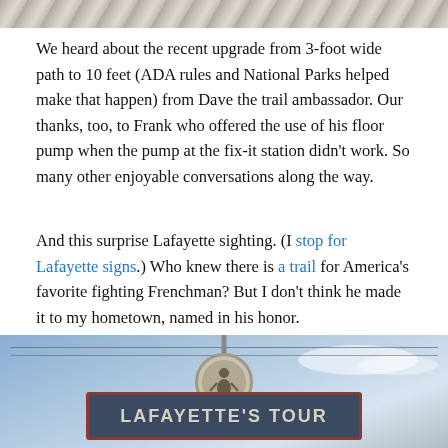[Figure (photo): Top portion of a photo — appears to show a path or trail, cropped so only the very bottom edge of the image is visible at the top of the page.]
We heard about the recent upgrade from 3-foot wide path to 10 feet (ADA rules and National Parks helped make that happen) from Dave the trail ambassador. Our thanks, too, to Frank who offered the use of his floor pump when the pump at the fix-it station didn't work. So many other enjoyable conversations along the way.
And this surprise Lafayette sighting. (I stop for Lafayette signs.) Who knew there is a trail for America's favorite fighting Frenchman? But I don't think he made it to my hometown, named in his honor.
[Figure (photo): Photo of a Lafayette's Tour trail sign against a blue sky with clouds. A round medallion with a silhouette figure sits atop a pole above the sign board which reads 'LAFAYETTE'S TOUR'.]